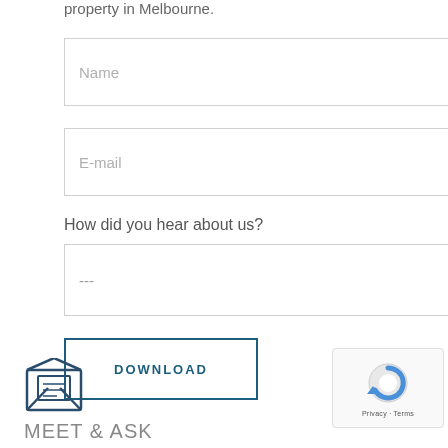property in Melbourne.
Name
E-mail
How did you hear about us?
---
DOWNLOAD
[Figure (illustration): Open envelope icon (outline style, dark teal/dark gray)]
MEET & ASK
[Figure (screenshot): reCAPTCHA badge with Google logo and Privacy - Terms text]